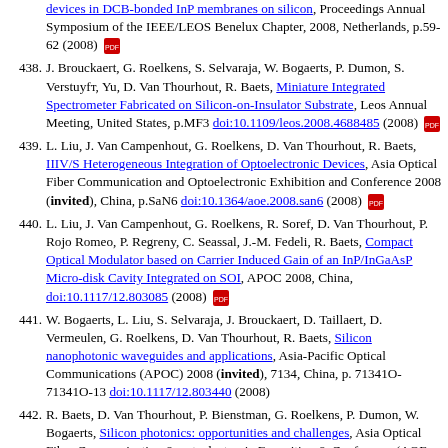438. J. Brouckaert, G. Roelkens, S. Selvaraja, W. Bogaerts, P. Dumon, S. Verstuyft, Yu, D. Van Thourhout, R. Baets, Miniature Integrated Spectrometer Fabricated on Silicon-on-Insulator Substrate, Leos Annual Meeting, United States, p.MF3 doi:10.1109/leos.2008.4688485 (2008)
439. L. Liu, J. Van Campenhout, G. Roelkens, D. Van Thourhout, R. Baets, IIIV/S Heterogeneous Integration of Optoelectronic Devices, Asia Optical Fiber Communication and Optoelectronic Exhibition and Conference 2008 (invited), China, p.SaN6 doi:10.1364/aoe.2008.san6 (2008)
440. L. Liu, J. Van Campenhout, G. Roelkens, R. Soref, D. Van Thourhout, P. Rojo Romeo, P. Regreny, C. Seassal, J.-M. Fedeli, R. Baets, Compact Optical Modulator based on Carrier Induced Gain of an InP/InGaAsP Micro-disk Cavity Integrated on SOI, APOC 2008, China, doi:10.1117/12.803085 (2008)
441. W. Bogaerts, L. Liu, S. Selvaraja, J. Brouckaert, D. Taillaert, D. Vermeulen, G. Roelkens, D. Van Thourhout, R. Baets, Silicon nanophotonic waveguides and applications, Asia-Pacific Optical Communications (APOC) 2008 (invited), 7134, China, p. 71341O-71341O-13 doi:10.1117/12.803440 (2008)
442. R. Baets, D. Van Thourhout, P. Bienstman, G. Roelkens, P. Dumon, W. Bogaerts, Silicon photonics: opportunities and challenges, Asia Optical Fiber Communication & optoelectronic Exposition & Conference (AOE 2008) (invited), China, p.p. SaH1.pdf doi:10.1364/acp.2012.ath1b.1 (2008)
443. L. Liu, J. Van Campenhout, G. Roelkens, D. Van Thourhout, P. Rojo Romeo, P. Regreny, C. Seassal, J.-M. Fedeli, R. Baets, All-Optical Wavelength Converter InP Micro-disk Laser Integrated on SOI, ECOC 2008, Belgium, p.Tu..C.3 doi:10.1109/ecoc.2008.4729245 (2008)
444. D. Vermeulen, G. Roelkens, J. Brouckaert, D. Van Thourhout, R. Baets, R. D.